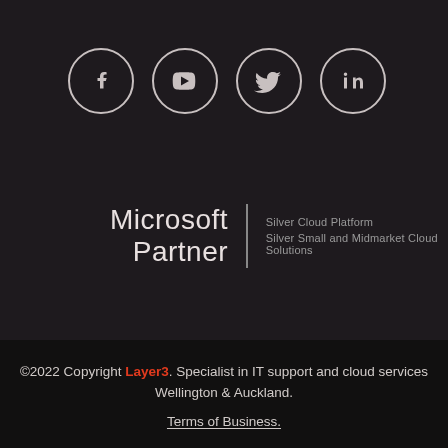[Figure (logo): Social media icons in circles: Facebook, YouTube, Twitter, LinkedIn]
[Figure (logo): Microsoft Partner logo with text: Silver Cloud Platform, Silver Small and Midmarket Cloud Solutions]
©2022 Copyright Layer3. Specialist in IT support and cloud services Wellington & Auckland.
Terms of Business.